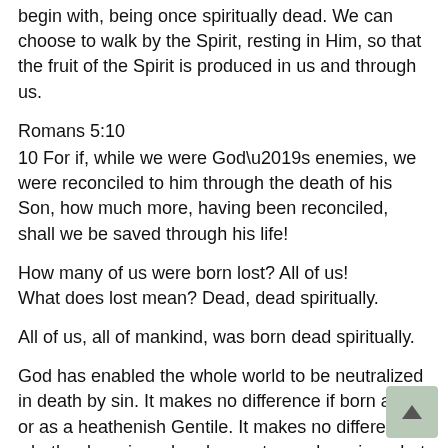begin with, being once spiritually dead. We can choose to walk by the Spirit, resting in Him, so that the fruit of the Spirit is produced in us and through us.
Romans 5:10
10 For if, while we were God’s enemies, we were reconciled to him through the death of his Son, how much more, having been reconciled, shall we be saved through his life!
How many of us were born lost? All of us!
What does lost mean? Dead, dead spiritually.
All of us, all of mankind, was born dead spiritually.
God has enabled the whole world to be neutralized in death by sin. It makes no difference if born a Jew or as a heathenish Gentile. It makes no difference whether born in a church or not even knowing what church is. You are born dead spiritually. For all of us alike are under the law of sin and death.